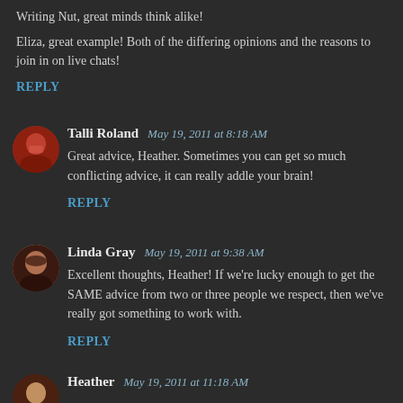Writing Nut, great minds think alike!
Eliza, great example! Both of the differing opinions and the reasons to join in on live chats!
REPLY
Talli Roland  May 19, 2011 at 8:18 AM
Great advice, Heather. Sometimes you can get so much conflicting advice, it can really addle your brain!
REPLY
Linda Gray  May 19, 2011 at 9:38 AM
Excellent thoughts, Heather! If we're lucky enough to get the SAME advice from two or three people we respect, then we've really got something to work with.
REPLY
Heather  May 19, 2011 at 11:18 AM
Talli, kidding! I'll always could be...